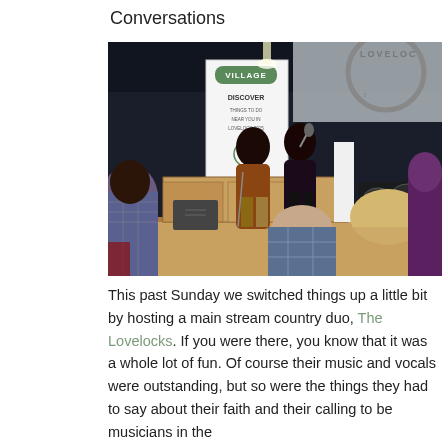Conversations
[Figure (photo): Two women on stage at a Village event, one holding a microphone, seated on stools in front of a 'VILLAGE DISCOVER' banner and a screen showing the Lovelocks logo. Audience members visible in foreground.]
This past Sunday we switched things up a little bit by hosting a main stream country duo, The Lovelocks. If you were there, you know that it was a whole lot of fun. Of course their music and vocals were outstanding, but so were the things they had to say about their faith and their calling to be musicians in the